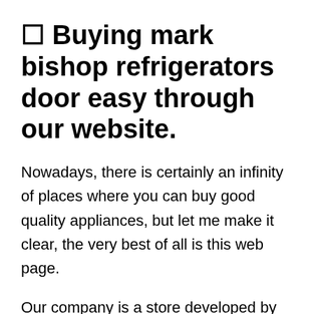🔲 Buying mark bishop refrigerators door easy through our website.
Nowadays, there is certainly an infinity of places where you can buy good quality appliances, but let me make it clear, the very best of all is this web page.
Our company is a store developed by as well as consumers who are searching for quality and good prices in addition. We take into account the wide selection of brands in the